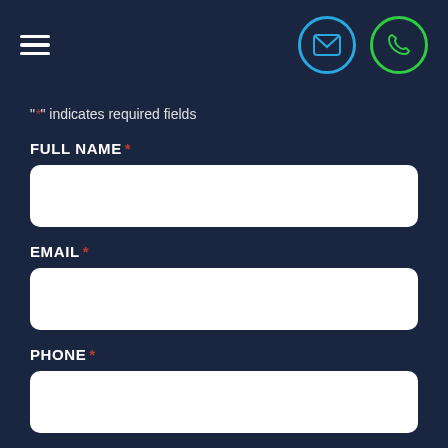[Figure (other): Navigation header with hamburger menu icon on left, blue email icon circle and green phone icon circle on right]
"*" indicates required fields
FULL NAME *
[Figure (other): Empty white input text field for Full Name]
EMAIL *
[Figure (other): Empty white input text field for Email]
PHONE *
[Figure (other): Empty white input text field for Phone]